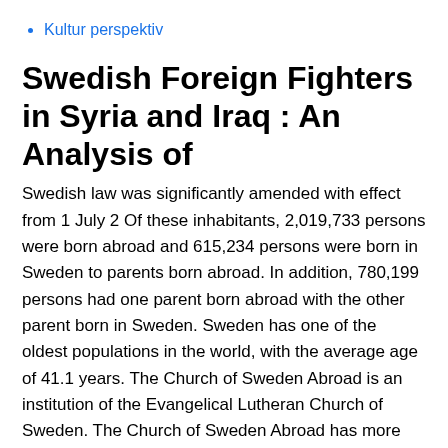Kultur perspektiv
Swedish Foreign Fighters in Syria and Iraq : An Analysis of
Swedish law was significantly amended with effect from 1 July 2 Of these inhabitants, 2,019,733 persons were born abroad and 615,234 persons were born in Sweden to parents born abroad. In addition, 780,199 persons had one parent born abroad with the other parent born in Sweden. Sweden has one of the oldest populations in the world, with the average age of 41.1 years. The Church of Sweden Abroad is an institution of the Evangelical Lutheran Church of Sweden. The Church of Sweden Abroad has more than 40